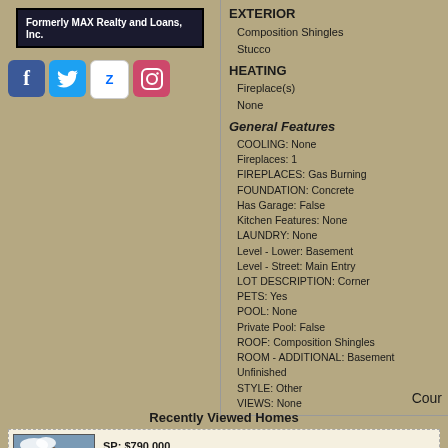Formerly MAX Realty and Loans, Inc.
[Figure (logo): Social media icons: Facebook, Twitter, Zillow, Instagram]
EXTERIOR
Composition Shingles
Stucco
HEATING
Fireplace(s)
None
General Features
COOLING: None
Fireplaces: 1
FIREPLACES: Gas Burning
FOUNDATION: Concrete
Has Garage: False
Kitchen Features: None
LAUNDRY: None
Level - Lower: Basement
Level - Street: Main Entry
LOT DESCRIPTION: Corner
PETS: Yes
POOL: None
Private Pool: False
ROOF: Composition Shingles
ROOM - ADDITIONAL: Basement Unfinished
STYLE: Other
VIEWS: None
Cour
Recently Viewed Homes
SP: $790,000